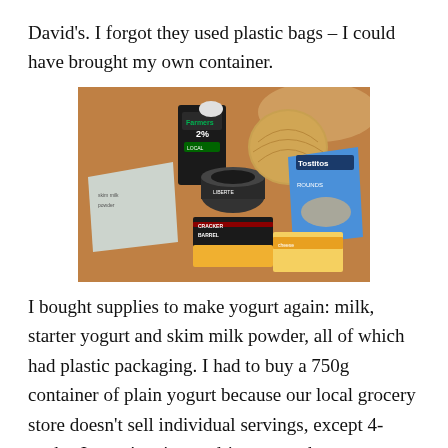David's. I forgot they used plastic bags – I could have brought my own container.
[Figure (photo): Grocery items on a wooden table including Farmers 2% milk carton, a container of yogurt, a cantaloupe, Tostitos Rounds chips bag, Cracker Barrel cheese, another cheese package, and a bag of skim milk powder.]
I bought supplies to make yogurt again: milk, starter yogurt and skim milk powder, all of which had plastic packaging. I had to buy a 750g container of plain yogurt because our local grocery store doesn't sell individual servings, except 4-packs. I wasn't going to drive to another store to buy a